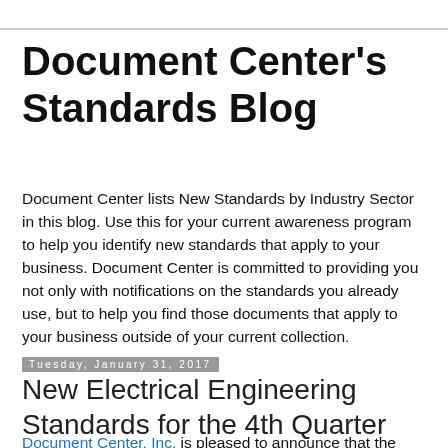Document Center's Standards Blog
Document Center lists New Standards by Industry Sector in this blog. Use this for your current awareness program to help you identify new standards that apply to your business. Document Center is committed to providing you not only with notifications on the standards you already use, but to help you find those documents that apply to your business outside of your current collection.
Tuesday, January 31, 2017
New Electrical Engineering Standards for the 4th Quarter 2016
Document Center, Inc. is pleased to announce that the following Standards on Electrical Engineering in General are